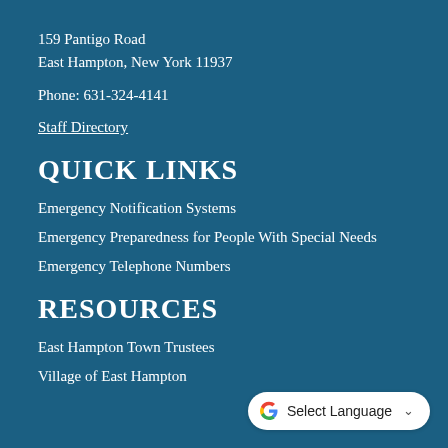159 Pantigo Road
East Hampton, New York 11937
Phone: 631-324-4141
Staff Directory
QUICK LINKS
Emergency Notification Systems
Emergency Preparedness for People With Special Needs
Emergency Telephone Numbers
RESOURCES
East Hampton Town Trustees
Village of East Hampton
[Figure (other): Google Translate widget button with 'Select Language' text and dropdown chevron]